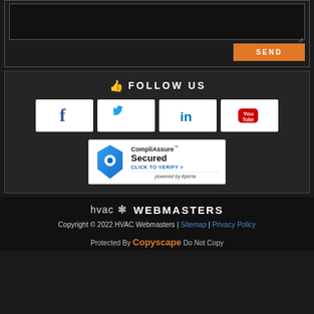[Figure (other): Text area input box (dark background, resize handle) — part of a contact form]
[Figure (other): Orange SEND button]
FOLLOW US
[Figure (other): Four social media buttons: Facebook (f), Twitter (bird), LinkedIn (in), YouTube (logo) — white rectangular buttons on dark background]
[Figure (other): CompliAssure Secured badge — blue geometric logo, text: CompliAssure Secured, CLICK TO VERIFY >, powered by Aperia]
[Figure (logo): HVAC Webmasters logo — hvac with asterisk-style icon, WEBMASTERS in bold white]
Copyright © 2022 HVAC Webmasters | Sitemap | Privacy Policy
Protected By Copyscape Do Not Copy